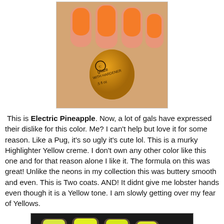[Figure (photo): Hand with orange nails holding a China Glaze nail polish bottle (Electric Pineapple). Nails are painted bright orange.]
This is Electric Pineapple. Now, a lot of gals have expressed their dislike for this color. Me? I can't help but love it for some reason. Like a Pug, it's so ugly it's cute lol. This is a murky Highlighter Yellow creme. I don't own any other color like this one and for that reason alone I like it. The formula on this was great! Unlike the neons in my collection this was buttery smooth and even. This is Two coats. AND! It didnt give me lobster hands even though it is a Yellow tone. I am slowly getting over my fear of Yellows.
[Figure (photo): Close-up of fingers with neon yellow nail polish on a dark background.]